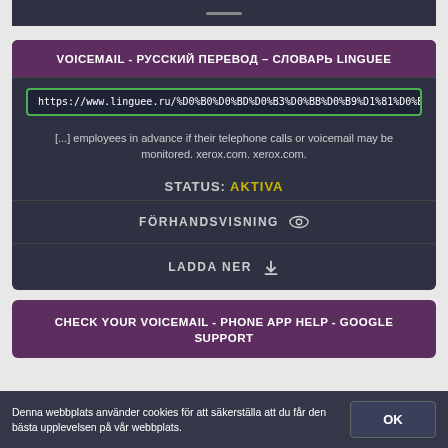VOICEMAIL - РУССКИЙ ПЕРЕВОД – СЛОВАРЬ LINGUEE
https://www.linguee.ru/%D0%B0%D0%BD%D0%B3%D0%BB%D0%B9...
[...] employees in advance if their telephone calls or voicemail may be monitored. xerox.com. xerox.com.
STATUS: AKTIVA
FÖRHANDSVISNING
LADDA NER
CHECK YOUR VOICEMAIL - PHONE APP HELP - GOOGLE SUPPORT
Denna webbplats använder cookies för att säkerställa att du får den bästa upplevelsen på vår webbplats.